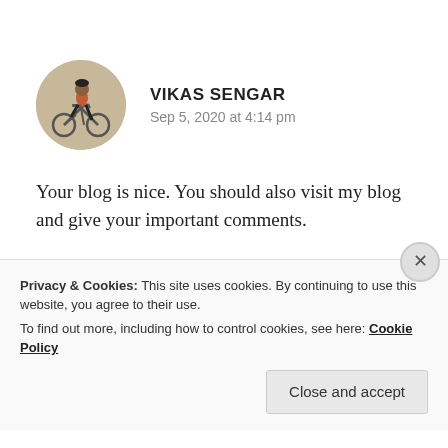[Figure (illustration): Circular avatar image with beige/tan background showing a person riding a bicycle, silhouetted figure]
VIKAS SENGAR
Sep 5, 2020 at 4:14 pm
Your blog is nice. You should also visit my blog and give your important comments.
★ Liked by 2 people
Privacy & Cookies: This site uses cookies. By continuing to use this website, you agree to their use.
To find out more, including how to control cookies, see here: Cookie Policy
Close and accept